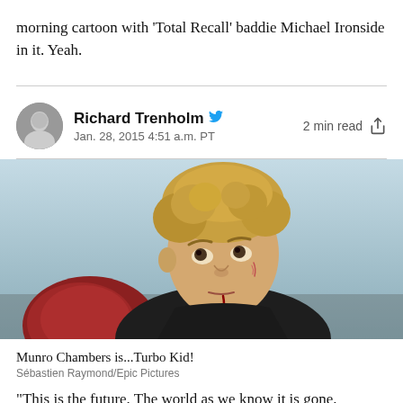morning cartoon with 'Total Recall' baddie Michael Ironside in it. Yeah.
Richard Trenholm  Jan. 28, 2015 4:51 a.m. PT  2 min read
[Figure (photo): Young man with curly blonde hair, scratches on face and chin, looking upward, wearing dark jacket, holding a red object. Movie still from Turbo Kid.]
Munro Chambers is...Turbo Kid!
Sébastien Raymond/Epic Pictures
"This is the future. The world as we know it is gone.